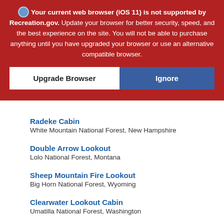🌐 Your current web browser (iOS 11) is not supported by Recreation.gov. Update your browser for better security, speed, and the best experience on the site. You will not be able to purchase anything until you have upgraded your browser or use an alternative compatible browser.
Upgrade Browser | Ignore
Radeke Cabin
White Mountain National Forest, New Hampshire
Double Arrow Lookout
Lolo National Forest, Montana
Sheep Mountain Fire Lookout
Big Horn National Forest, Wyoming
Clearwater Lookout Cabin
Umatilla National Forest, Washington
Jones Corral Guard Station
Dixie National Forest, Utah